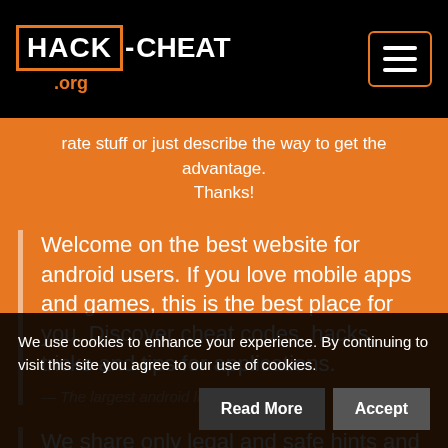HACK-CHEAT .org
rate stuff or just describe the way to get the advantage.
Thanks!
Welcome on the best website for android users. If you love mobile apps and games, this is the best place for you. Discover cheat codes, hacks, tricks and tips for applications.
— The largest android library
We share only legal and safe hints and
We use cookies to enhance your experience. By continuing to visit this site you agree to our use of cookies.